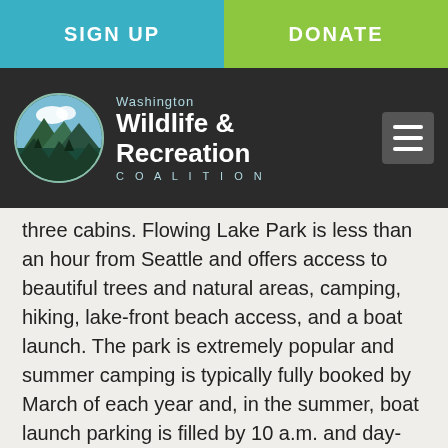SIGN UP | DONATE
[Figure (logo): Washington Wildlife & Recreation Coalition logo with circular mountain/forest emblem and navigation hamburger menu on dark background]
three cabins. Flowing Lake Park is less than an hour from Seattle and offers access to beautiful trees and natural areas, camping, hiking, lake-front beach access, and a boat launch. The park is extremely popular and summer camping is typically fully booked by March of each year and, in the summer, boat launch parking is filled by 10 a.m. and day-use parking is filled by noon on Saturdays. Flowing Lake's current entrance is only one traffic lane, does not provide good access to staff, is confusing, and is entirely lacking in accessible services. The County plans to reconfigure the entrance to provide two lanes of entry, relocate the ranger office to the entrance, and other improvements and provide